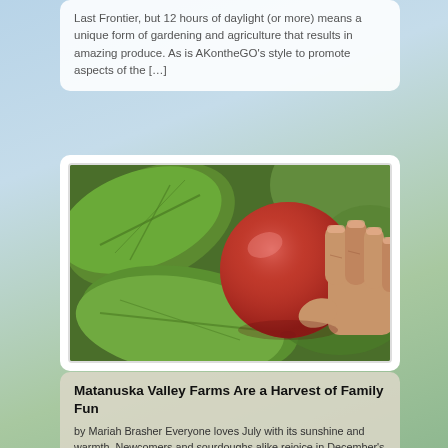Last Frontier, but 12 hours of daylight (or more) means a unique form of gardening and agriculture that results in amazing produce. As is AKontheGO's style to promote aspects of the […]
[Figure (photo): A person's hand holding a ripe red apple against green leaves on a tree, close-up photograph.]
Matanuska Valley Farms Are a Harvest of Family Fun
by Mariah Brasher Everyone loves July with its sunshine and warmth. Newcomers and sourdoughs alike rejoice in December's snow and shining aurora. But – I'm here to tell you – September is one of the most beautiful and busy months in